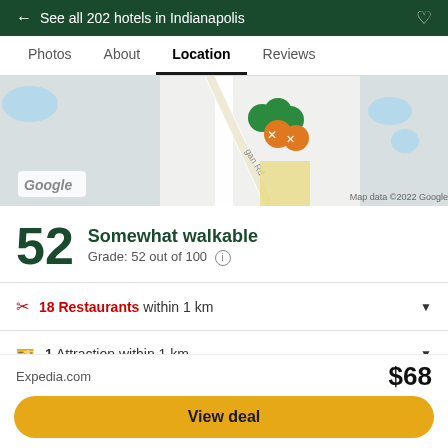← See all 202 hotels in Indianapolis
Location
[Figure (map): Google map showing hotel location with restaurant markers near Indianapolis, Map data ©2022 Google]
52 Somewhat walkable Grade: 52 out of 100
18 Restaurants within 1 km
1 Attraction within 1 km
Contact
Expedia.com  $68  View deal